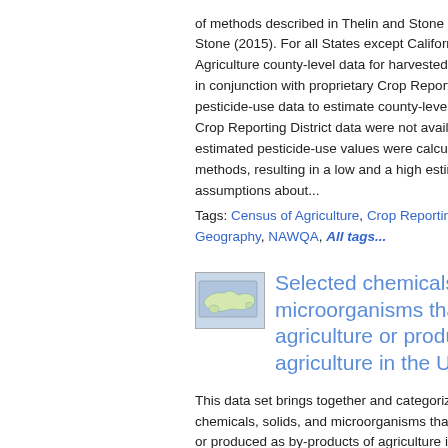of methods described in Thelin and Stone (2015). For all States except California. Agriculture county-level data for harvested-crop in conjunction with proprietary Crop Reporting pesticide-use data to estimate county-level pes Crop Reporting District data were not available, estimated pesticide-use values were calculated methods, resulting in a low and a high estimate assumptions about...
Tags: Census of Agriculture, Crop Reporting District, En Geography, NAWQA, All tags...
[Figure (map): Small thumbnail map of the United States]
Selected chemicals, solids, microorganisms that are used in agriculture or produced as by-products of agriculture in the United States as...
This data set brings together and categorizes chemicals, solids, and microorganisms that are or produced as by-products of agriculture in th 2009). Each entry in the data set includes the Abstracts Service Registry Number, purpose(s) reference. For pesticides and their degradates parent pesticide, and the United States Enviro...